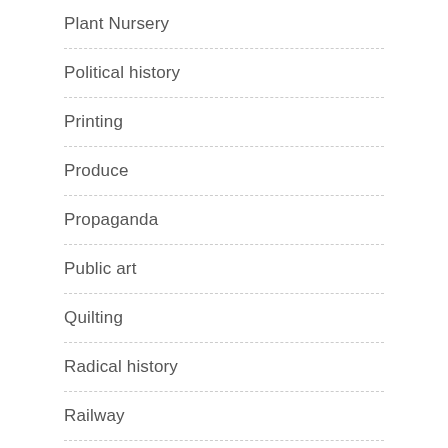Plant Nursery
Political history
Printing
Produce
Propaganda
Public art
Quilting
Radical history
Railway
Re-enactments
Recreation